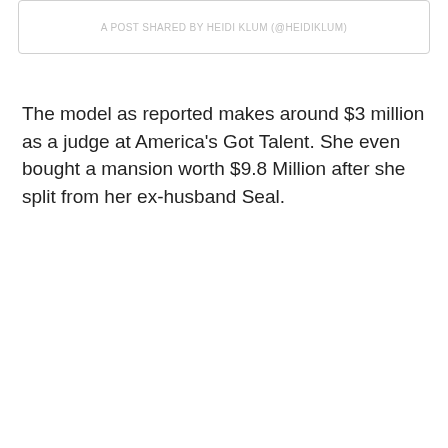A POST SHARED BY HEIDI KLUM (@HEIDIKLUM)
The model as reported makes around $3 million as a judge at America's Got Talent. She even bought a mansion worth $9.8 Million after she split from her ex-husband Seal.